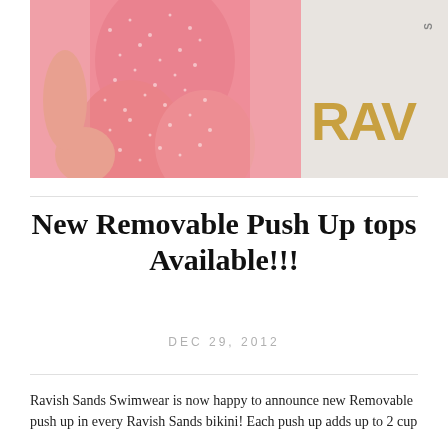[Figure (photo): Photo of a woman wearing a pink rhinestone/mesh swimsuit, with the brand name 'RAVISH SANDS' displayed beside it on a grey background — 'RAV' in large gold letters and 'S' vertically in grey.]
New Removable Push Up tops Available!!!
DEC 29, 2012
Ravish Sands Swimwear is now happy to announce new Removable push up in every Ravish Sands bikini! Each push up adds up to 2 cup